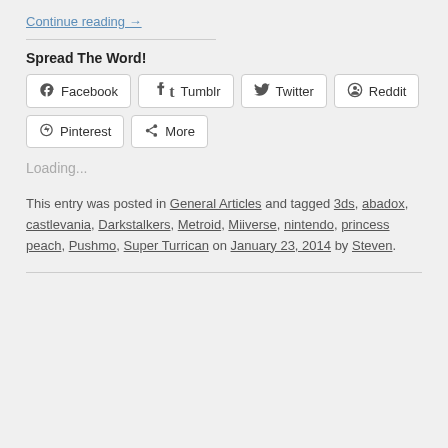Continue reading →
Spread The Word!
Facebook  Tumblr  Twitter  Reddit  Pinterest  More
Loading...
This entry was posted in General Articles and tagged 3ds, abadox, castlevania, Darkstalkers, Metroid, Miiverse, nintendo, princess peach, Pushmo, Super Turrican on January 23, 2014 by Steven.